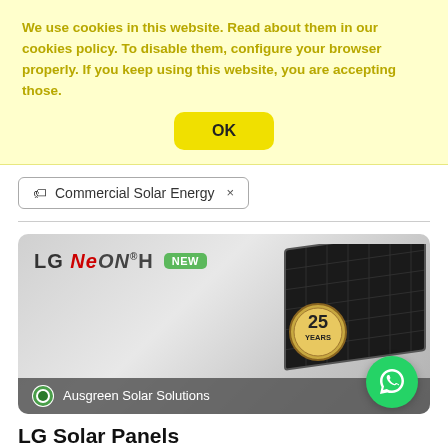We use cookies in this website. Read about them in our cookies policy. To disable them, configure your browser properly. If you keep using this website, you are accepting those.
OK
Commercial Solar Energy ×
[Figure (screenshot): LG NeON H solar panel product card with NEW badge, solar panel image on right, 25 YEARS badge, Ausgreen Solar Solutions branding at bottom]
LG Solar Panels